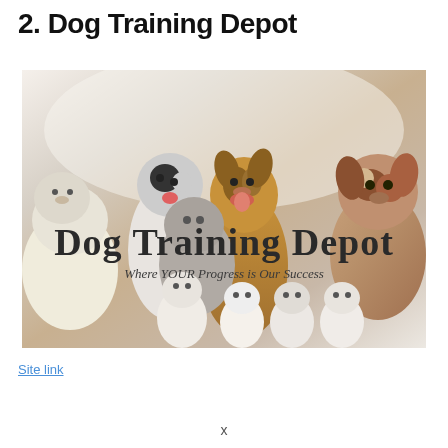2. Dog Training Depot
[Figure (photo): Photo collage/banner for Dog Training Depot website showing a group of various dog breeds (white fluffy dog, black and white border collie, large golden/tan dog, gray shaggy dog, Australian Shepherd, and small white dogs) with overlaid text 'Dog Training Depot' and subtitle 'Where YOUR Progress is Our Success']
Site link (partially visible, blue underlined text)